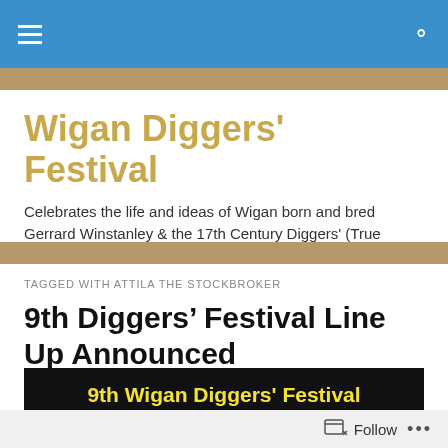Wigan Diggers' Festival
Wigan Diggers' Festival
Celebrates the life and ideas of Wigan born and bred Gerrard Winstanley & the 17th Century Diggers' (True Leveller) Movement
TAGGED WITH ATTILA THE STOCKBROKER
9th Diggers' Festival Line Up Announced
[Figure (photo): Banner image for 9th Wigan Diggers' Festival with yellow text on dark background reading '9th Wigan Diggers' Festival' and white text 'Saturday 7th September 2019']
Follow